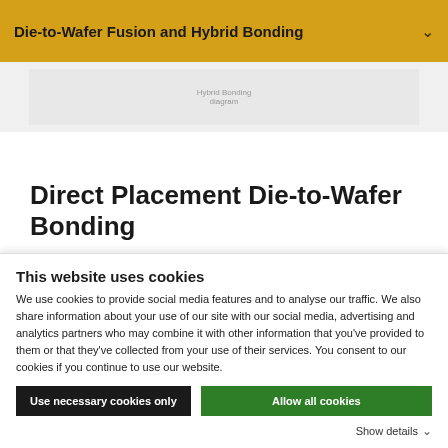Die-to-Wafer Fusion and Hybrid Bonding
[Figure (other): Partially visible screenshot or diagram related to die-to-wafer bonding, shown in a light gray image area]
Direct Placement Die-to-Wafer Bonding
Another hybrid die-to-wafer bonding approach that is
This website uses cookies
We use cookies to provide social media features and to analyse our traffic. We also share information about your use of our site with our social media, advertising and analytics partners who may combine it with other information that you've provided to them or that they've collected from your use of their services. You consent to our cookies if you continue to use our website.
Use necessary cookies only
Allow all cookies
Show details